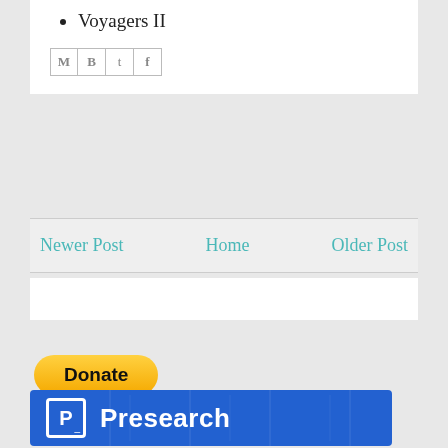Voyagers II
[Figure (infographic): Social share buttons: Gmail (M), Blogger (B), Twitter (t), Facebook (f)]
Newer Post | Home | Older Post
[Figure (infographic): Donate button with PayPal yellow styling]
[Figure (logo): Presearch logo banner with blue background, P logo in white box, and Presearch text in white]